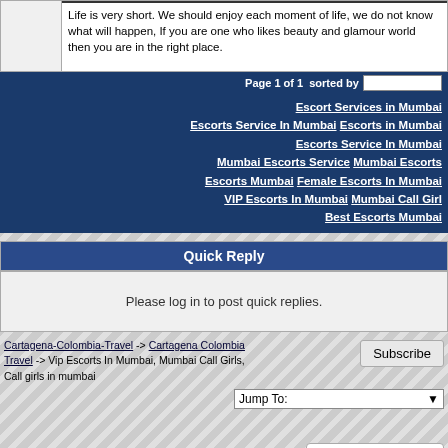Life is very short. We should enjoy each moment of life, we do not know what will happen, If you are one who likes beauty and glamour world then you are in the right place.
Page 1 of 1  sorted by  Oldest First
Escort Services in Mumbai Escorts Service In Mumbai Escorts in Mumbai Escorts Service In Mumbai Mumbai Escorts Service Mumbai Escorts Escorts Mumbai Female Escorts In Mumbai VIP Escorts In Mumbai Mumbai Call Girl Best Escorts Mumbai
Quick Reply
Please log in to post quick replies.
Cartagena-Colombia-Travel -> Cartagena Colombia Travel -> Vip Escorts In Mumbai, Mumbai Call Girls, Call girls in mumbai
Subscribe
Jump To:
Create your own FREE Forum
Report Abuse
[Figure (logo): Powered by Activebo logo badge with circular icon]